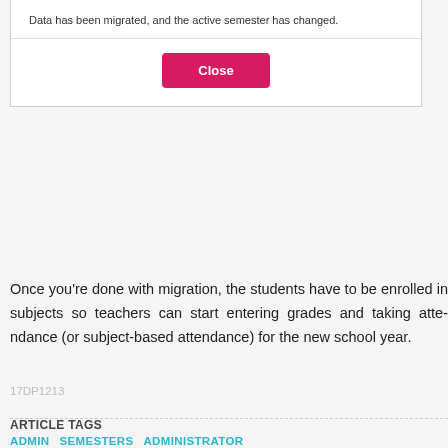[Figure (screenshot): Dialog box with message 'Data has been migrated, and the active semester has changed.' and a pink/red 'Close' button]
Once you're done with migration, the students have to be enrolled in subjects so teachers can start entering grades and taking attendance (or subject-based attendance) for the new school year.
17DP1213
ARTICLE TAGS
ADMIN   SEMESTERS   ADMINISTRATOR